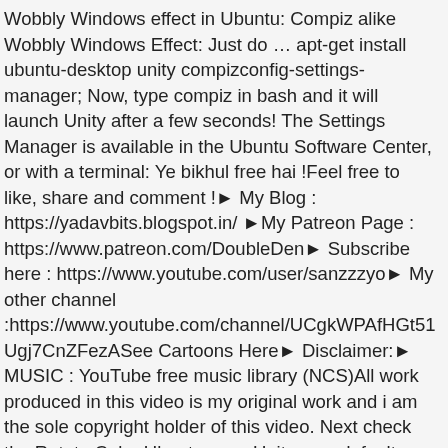Wobbly Windows effect in Ubuntu: Compiz alike Wobbly Windows Effect: Just do … apt-get install ubuntu-desktop unity compizconfig-settings-manager; Now, type compiz in bash and it will launch Unity after a few seconds! The Settings Manager is available in the Ubuntu Software Center, or with a terminal: Ye bikhul free hai !Feel free to like, share and comment !► My Blog : https://yadavbits.blogspot.in/ ►My Patreon Page : https://www.patreon.com/DoubleDen► Subscribe here : https://www.youtube.com/user/sanzzzyo► My other channel :https://www.youtube.com/channel/UCgkWPAfHGt51Ugj7CnZFezASee Cartoons Here► Disclaimer:► MUSIC : YouTube free music library (NCS)All work produced in this video is my original work and i am the sole copyright holder of this video. Next check the Rotate Cube Ubuntu uses Unity as a default desktop environment which makes use of OpenGL library called compiz for rendering graphics. All you need to do is run two commands in terminal. plugin. Yau basically a